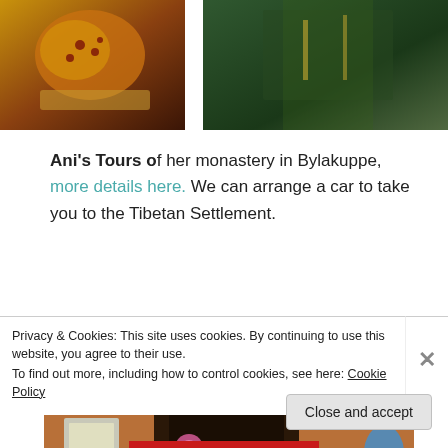[Figure (photo): Two photos side by side at top: left shows hands holding a pomegranate or fruit with seeds; right shows person in green ceremonial robe]
Ani's Tours of her monastery in Bylakuppe, more details here. We can arrange a car to take you to the Tibetan Settlement.
[Figure (photo): Interior of a Tibetan Buddhist monastery showing ornate altar with colorful thangkas, decorative carvings, and religious statues]
Privacy & Cookies: This site uses cookies. By continuing to use this website, you agree to their use.
To find out more, including how to control cookies, see here: Cookie Policy
Close and accept